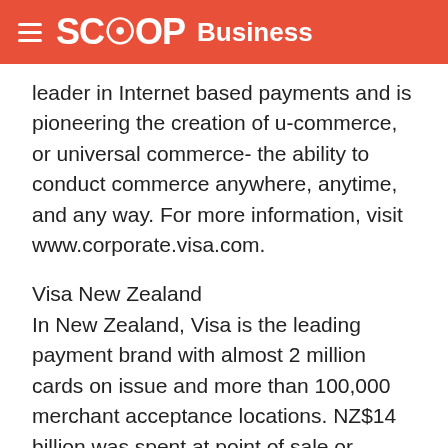SCOOP Business
leader in Internet based payments and is pioneering the creation of u-commerce, or universal commerce- the ability to conduct commerce anywhere, anytime, and any way. For more information, visit www.corporate.visa.com.
Visa New Zealand
In New Zealand, Visa is the leading payment brand with almost 2 million cards on issue and more than 100,000 merchant acceptance locations. NZ$14 billion was spent at point of sale or withdrawn from ATMs in New Zealand using Visa cards in the year ended June 2005. Visa processes more than 100 million transactions in New Zealand annually. For more information, visit...